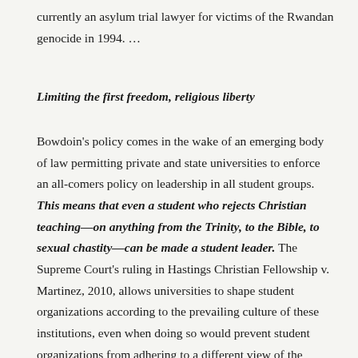currently an asylum trial lawyer for victims of the Rwandan genocide in 1994. …
Limiting the first freedom, religious liberty
Bowdoin's policy comes in the wake of an emerging body of law permitting private and state universities to enforce an all-comers policy on leadership in all student groups. This means that even a student who rejects Christian teaching—on anything from the Trinity, to the Bible, to sexual chastity—can be made a student leader. The Supreme Court's ruling in Hastings Christian Fellowship v. Martinez, 2010, allows universities to shape student organizations according to the prevailing culture of these institutions, even when doing so would prevent student organizations from adhering to a different view of the world, including one shaped by the teachings and practices